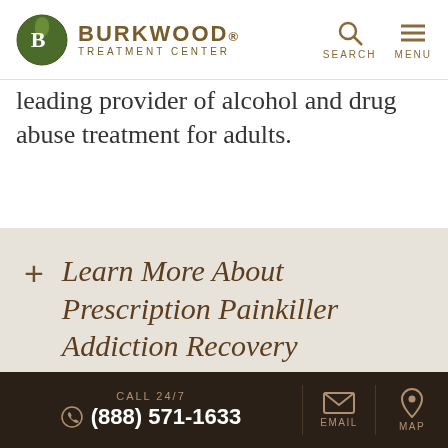[Figure (logo): Burkwood Treatment Center logo — circular green emblem with a 'B' beside the text BURKWOOD TREATMENT CENTER in brown]
leading provider of alcohol and drug abuse treatment for adults.
+ Learn More About Prescription Painkiller Addiction Recovery
+ Helping a Loved One
CALL 24/7 (888) 571-1633 EMAIL MAP